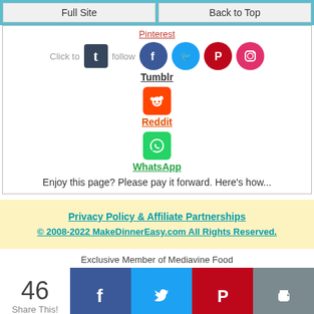Full Site | Back to Top
[Figure (screenshot): Social sharing section with Pinterest link, Tumblr icon with Follow text and social circle icons (Facebook, Twitter, Pinterest, Instagram), Reddit icon and label, WhatsApp icon and label]
Enjoy this page? Please pay it forward. Here's how...
Privacy Policy & Affiliate Partnerships
© 2008-2022 MakeDinnerEasy.com All Rights Reserved.
Exclusive Member of Mediavine Food
[Figure (infographic): Share count 46 with Share This! label and four share buttons: Facebook (blue), Twitter (light blue), Pinterest (red), Print (grey)]